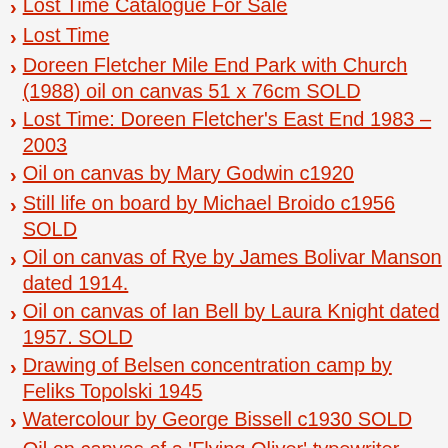Lost Time Catalogue For Sale
Lost Time
Doreen Fletcher Mile End Park with Church (1988) oil on canvas 51 x 76cm SOLD
Lost Time: Doreen Fletcher's East End 1983 – 2003
Oil on canvas by Mary Godwin c1920
Still life on board by Michael Broido c1956 SOLD
Oil on canvas of Rye by James Bolivar Manson dated 1914.
Oil on canvas of Ian Bell by Laura Knight dated 1957. SOLD
Drawing of Belsen concentration camp by Feliks Topolski 1945
Watercolour by George Bissell c1930 SOLD
Oil on canvas of a 'Flying Oliver' typewriter,